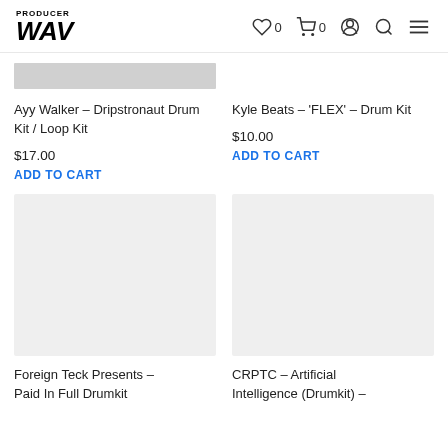PRODUCER WAV — navigation header with wishlist (0), cart (0), account, search, and menu icons
[Figure (screenshot): Partial product image placeholder (gray bar) for Ayy Walker Dripstronaut Drum Kit]
Ayy Walker – Dripstronaut Drum Kit / Loop Kit
$17.00
ADD TO CART
Kyle Beats – 'FLEX' – Drum Kit
$10.00
ADD TO CART
[Figure (photo): Product image area for Foreign Teck Presents – Paid In Full Drumkit (large gray/white placeholder)]
[Figure (photo): Product image area for CRPTC – Artificial Intelligence (Drumkit) (large gray/white placeholder)]
Foreign Teck Presents – Paid In Full Drumkit
CRPTC – Artificial Intelligence (Drumkit) –